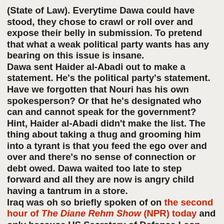(State of Law). Everytime Dawa could have stood, they chose to crawl or roll over and expose their belly in submission. To pretend that what a weak political party wants has any bearing on this issue is insane. Dawa sent Haider al-Abadi out to make a statement. He's the political party's statement. Have we forgotten that Nouri has his own spokesperson? Or that he's designated who can and cannot speak for the government? Hint, Haider al-Abadi didn't make the list. The thing about taking a thug and grooming him into a tyrant is that you feed the ego over and over and there's no sense of connection or debt owed. Dawa waited too late to step forward and all they are now is angry child having a tantrum in a store. Iraq was oh so briefly spoken of on the second hour of The Diane Rehm Show (NPR) today and only because US Secretary of Defense Leon Panetta had visited. By the way, when Diane can't